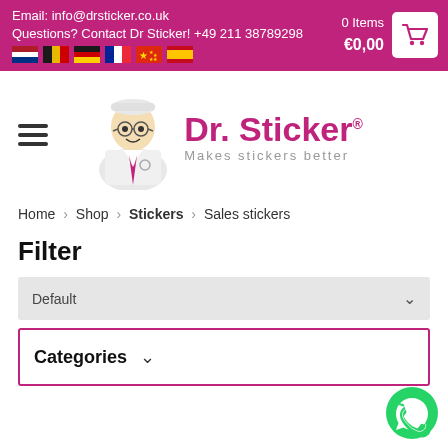Email: info@drsticker.co.uk
Questions? Contact Dr Sticker! +49 211 38789298
0 Items €0,00
[Figure (logo): Dr. Sticker logo with cartoon doctor character. Text: Dr. Sticker® Makes stickers better]
Home › Shop › Stickers › Sales stickers
Filter
Default
Categories